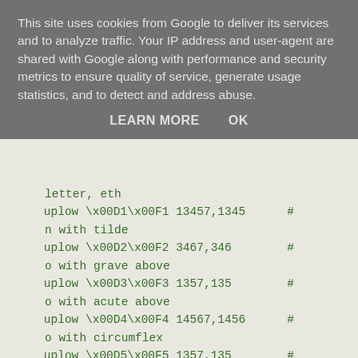This site uses cookies from Google to deliver its services and to analyze traffic. Your IP address and user-agent are shared with Google along with performance and security metrics to ensure quality of service, generate usage statistics, and to detect and address abuse.
LEARN MORE   OK
letter, eth
uplow \x00D1\x00F1 13457,1345  #
n with tilde
uplow \x00D2\x00F2 3467,346    #
o with grave above
uplow \x00D3\x00F3 1357,135    #
o with acute above
uplow \x00D4\x00F4 14567,1456  #
o with circumflex
uplow \x00D5\x00F5 1357,135    #
o with tilde
uplow \x00D6\x00F6 2467,246    #
o with dieresis
uplow \x0152\x0153 2467,246    #